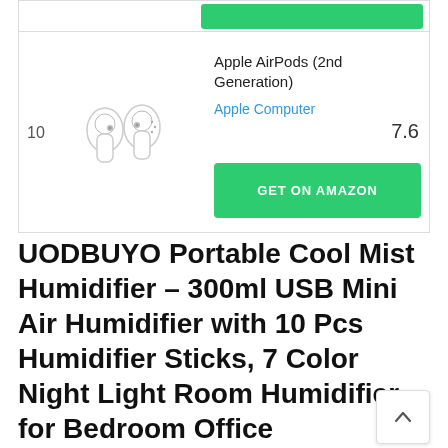[Figure (screenshot): Top portion of a product listing card showing a green button (GET ON AMAZON) partially visible at top]
| 10 | [Apple AirPods image] | Apple AirPods (2nd Generation)
Apple Computer
GET ON AMAZON | 7.6 |
UODBUYO Portable Cool Mist Humidifier – 300ml USB Mini Air Humidifier with 10 Pcs Humidifier Sticks, 7 Color Night Light Room Humidifier for Bedroom Office Desk,Car,Travel (Blue)